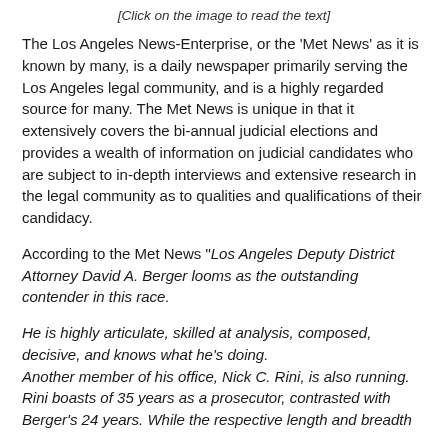[Click on the image to read the text]
The Los Angeles News-Enterprise, or the 'Met News' as it is known by many, is a daily newspaper primarily serving the Los Angeles legal community, and is a highly regarded source for many. The Met News is unique in that it extensively covers the bi-annual judicial elections and provides a wealth of information on judicial candidates who are subject to in-depth interviews and extensive research in the legal community as to qualities and qualifications of their candidacy.
According to the Met News "Los Angeles Deputy District Attorney David A. Berger looms as the outstanding contender in this race.
He is highly articulate, skilled at analysis, composed, decisive, and knows what he's doing.
Another member of his office, Nick C. Rini, is also running. Rini boasts of 35 years as a prosecutor, contrasted with Berger's 24 years. While the respective length and breadth of a candidate's background experience is important...